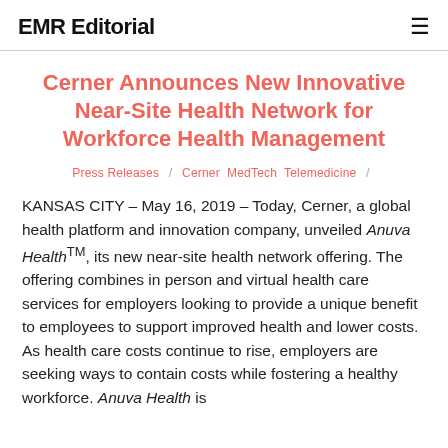EMR Editorial
Cerner Announces New Innovative Near-Site Health Network for Workforce Health Management
Press Releases / Cerner MedTech Telemedicine /
KANSAS CITY – May 16, 2019 – Today, Cerner, a global health platform and innovation company, unveiled Anuva Health™, its new near-site health network offering. The offering combines in person and virtual health care services for employers looking to provide a unique benefit to employees to support improved health and lower costs. As health care costs continue to rise, employers are seeking ways to contain costs while fostering a healthy workforce. Anuva Health is